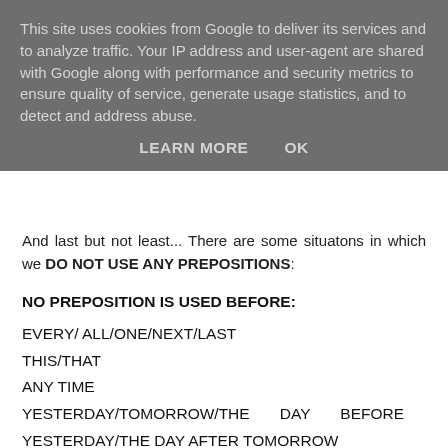This site uses cookies from Google to deliver its services and to analyze traffic. Your IP address and user-agent are shared with Google along with performance and security metrics to ensure quality of service, generate usage statistics, and to detect and address abuse.
LEARN MORE   OK
And last but not least... There are some situatons in which we DO NOT USE ANY PREPOSITIONS:
NO PREPOSITION IS USED BEFORE:
EVERY/ ALL/ONE/NEXT/LAST
THIS/THAT
ANY TIME
YESTERDAY/TOMORROW/THE DAY BEFORE YESTERDAY/THE DAY AFTER TOMORROW
We see each other every Monday.